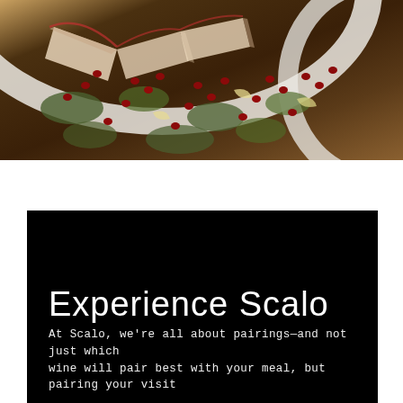[Figure (photo): Close-up photo of a salad in a white bowl with pomegranate seeds, apple slices, greens, and shaved cheese]
Experience Scalo
At Scalo, we're all about pairings—and not just which wine will pair best with your meal, but pairing your visit